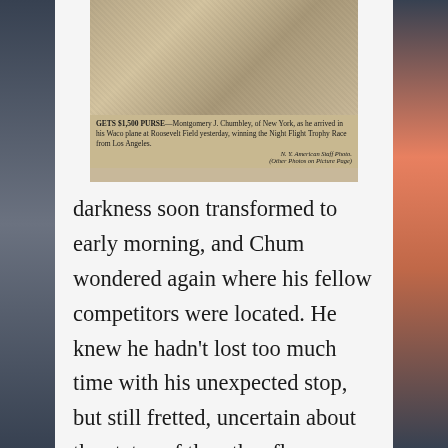[Figure (photo): Old newspaper photograph and caption. Caption reads: GETS $1,500 PURSE—Montgomery J. Chumbley, of New York, as he arrived in his Waco plane at Roosevelt Field yesterday, winning the Night Flight Trophy Race from Los Angeles. N.Y. American Staff Photo. (Other Photos on Picture Page)]
darkness soon transformed to early morning, and Chum wondered again where his fellow competitors were located. He knew he hadn't lost too much time with his unexpected stop, but still fretted, uncertain about the status of the other flyers. Worried about the constant cloud cover that didn't want to clear, he decided, as a last resort, he'd head out over the Atlantic, look for another break, and duck through. But once again luck smiled, and in the perfect light of morning, a